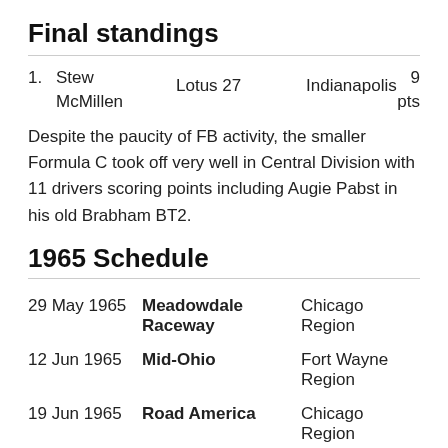Final standings
| # | Name | Car | Location | Points |
| --- | --- | --- | --- | --- |
| 1. | Stew McMillen | Lotus 27 | Indianapolis | 9 pts |
Despite the paucity of FB activity, the smaller Formula C took off very well in Central Division with 11 drivers scoring points including Augie Pabst in his old Brabham BT2.
1965 Schedule
| Date | Venue | Region |
| --- | --- | --- |
| 29 May 1965 | Meadowdale Raceway | Chicago Region |
| 12 Jun 1965 | Mid-Ohio | Fort Wayne Region |
| 19 Jun 1965 | Road America | Chicago Region |
| 10 Jul 1965 | Mid-Ohio | Cincinnati Region |